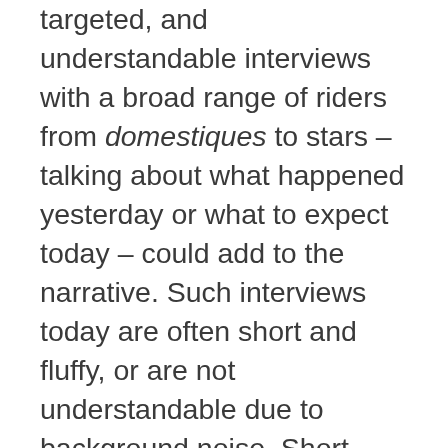targeted, and understandable interviews with a broad range of riders from domestiques to stars – talking about what happened yesterday or what to expect today – could add to the narrative. Such interviews today are often short and fluffy, or are not understandable due to background noise. Short bursts of identifiable, relatable content can build affinity and personal connections, and keep viewers tuned in rather than wandering off to read the morning paper or